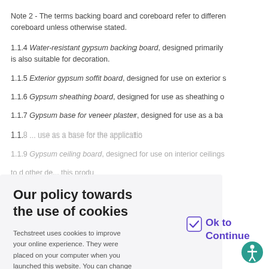Note 2 - The terms backing board and coreboard refer to different products, e.g. coreboard unless otherwise stated.
1.1.4 Water-resistant gypsum backing board, designed primarily for use as a base and is also suitable for decoration.
1.1.5 Exterior gypsum soffit board, designed for use on exterior s...
1.1.6 Gypsum sheathing board, designed for use as sheathing o...
1.1.7 Gypsum base for veneer plaster, designed for use as a ba...
1.1.8 ... use as a base for the application...
1.1.9 Gypsum ceiling board, designed for use on interior ceilings...
1.2 ... gypsum boards are located in the following sections.
Our policy towards the use of cookies
Techstreet uses cookies to improve your online experience. They were placed on your computer when you launched this website. You can change your cookie settings through your browser.
Ok to Continue
Section